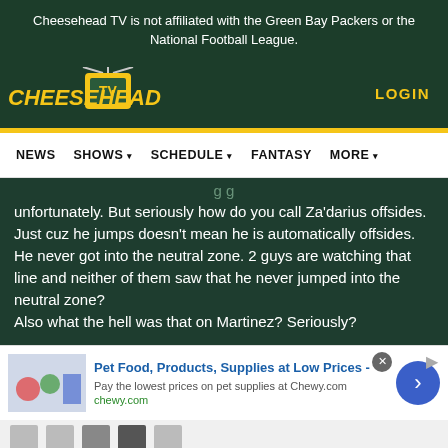Cheesehead TV is not affiliated with the Green Bay Packers or the National Football League.
[Figure (logo): Cheesehead TV logo with yellow text and TV icon with antenna]
LOGIN
NEWS  SHOWS  SCHEDULE  FANTASY  MORE
unfortunately. But seriously how do you call Za'darius offsides. Just cuz he jumps doesn't mean he is automatically offsides. He never got into the neutral zone. 2 guys are watching that line and neither of them saw that he never jumped into the neutral zone?
Also what the hell was that on Martinez? Seriously?
Pet Food, Products, Supplies at Low Prices -
Pay the lowest prices on pet supplies at Chewy.com
chewy.com